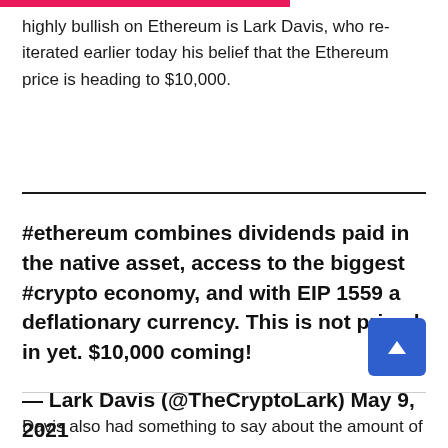highly bullish on Ethereum is Lark Davis, who re-iterated earlier today his belief that the Ethereum price is heading to $10,000.
#ethereum combines dividends paid in the native asset, access to the biggest #crypto economy, and with EIP 1559 a deflationary currency. This is not priced in yet. $10,000 coming!

— Lark Davis (@TheCryptoLark) May 9, 2021
Davis also had something to say about the amount of